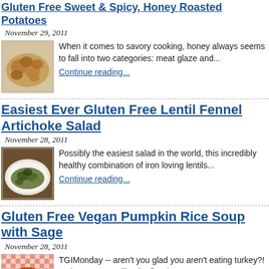Gluten Free Sweet & Spicy Honey Roasted Potatoes
November 29, 2011
[Figure (photo): Photo of honey roasted potatoes in a bowl]
When it comes to savory cooking, honey always seems to fall into two categories: meat glaze and...
Continue reading...
Easiest Ever Gluten Free Lentil Fennel Artichoke Salad
November 28, 2011
[Figure (photo): Photo of lentil fennel artichoke salad on a plate]
Possibly the easiest salad in the world, this incredibly healthy combination of iron loving lentils...
Continue reading...
Gluten Free Vegan Pumpkin Rice Soup with Sage
November 28, 2011
[Figure (photo): Photo of pumpkin rice soup with sage in a bowl]
TGIMonday -- aren't you glad you aren't eating turkey?! It always seems like the first (...
Continue reading...